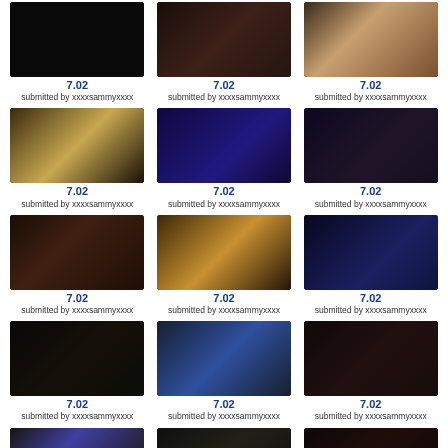[Figure (photo): Grid of TV show screenshot thumbnails, each labeled 7.02 and submitted by xxxxsammyxxxx. 5 rows x 3 columns of dark video stills.]
7.02
submitted by xxxxsammyxxxx
7.02
submitted by xxxxsammyxxxx
7.02
submitted by xxxxsammyxxxx
7.02
submitted by xxxxsammyxxxx
7.02
submitted by xxxxsammyxxxx
7.02
submitted by xxxxsammyxxxx
7.02
submitted by xxxxsammyxxxx
7.02
submitted by xxxxsammyxxxx
7.02
submitted by xxxxsammyxxxx
7.02
submitted by xxxxsammyxxxx
7.02
submitted by xxxxsammyxxxx
7.02
submitted by xxxxsammyxxxx